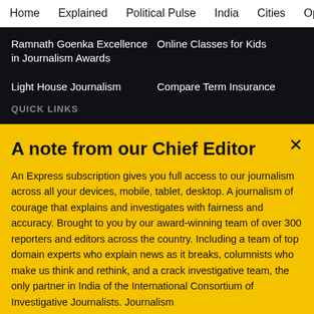Home   Explained   Political Pulse   India   Cities   Opinion   Entertainment
Ramnath Goenka Excellence in Journalism Awards
Online Classes for Kids
Light House Journalism
Compare Term Insurance
QUICK LINKS
A note from our Chief Editor
An Express subscription gives you full access to our journalism across all your devices, mobile, tablet, desktop. A journalism of courage that explains and investigates with fairness and accuracy. Brought to you by our award-winning team of over 300 reporters and editors across the country. Including a team of top domain experts who explain news as it breaks, columnists who make us think and rethink, and a crack investigative team, the only partner in India of the International Consortium of Investigative Journalists. Journalism
Buy Now →